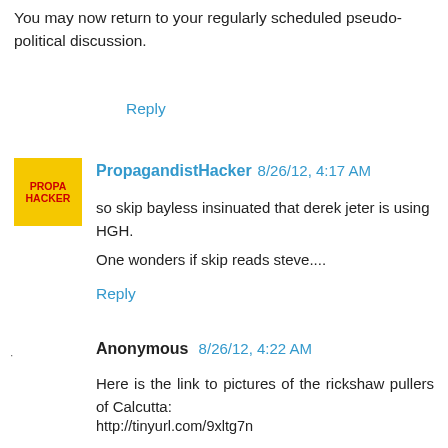You may now return to your regularly scheduled pseudo-political discussion.
Reply
[Figure (other): Yellow square avatar with red bold text reading PROPA HACKER]
PropagandistHacker 8/26/12, 4:17 AM
so skip bayless insinuated that derek jeter is using HGH.
One wonders if skip reads steve....
Reply
Anonymous 8/26/12, 4:22 AM
Here is the link to pictures of the rickshaw pullers of Calcutta:
http://tinyurl.com/9xltg7n